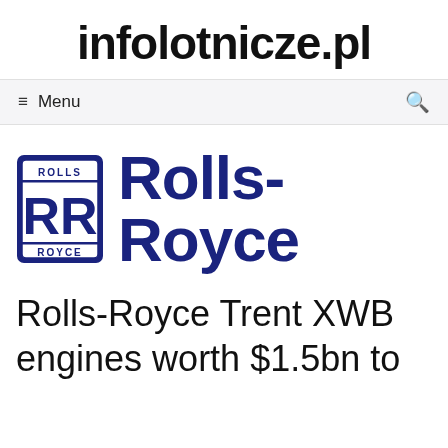infolotnicze.pl
≡ Menu
[Figure (logo): Rolls-Royce logo: blue bordered badge with RR monogram on the left, and 'Rolls-Royce' wordmark in dark navy blue on the right]
Rolls-Royce Trent XWB engines worth $1.5bn to